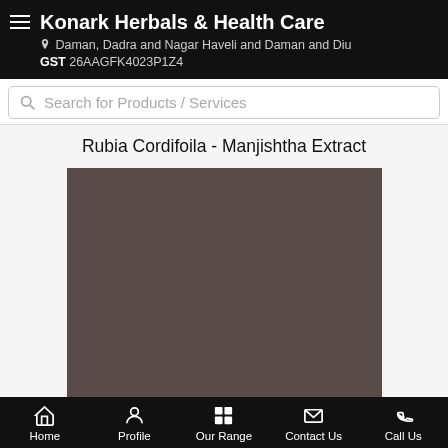Konark Herbals & Health Care
Daman, Dadra and Nagar Haveli and Daman and Diu
GST 26AAGFK4023P1Z4
Search for Products / Services
Rubia Cordifoila - Manjishtha Extract
[Figure (photo): Product image placeholder – dark brownish-grey rectangle representing the product photo for Rubia Cordifoila - Manjishtha Extract]
Home | Profile | Our Range | Contact Us | Call Us